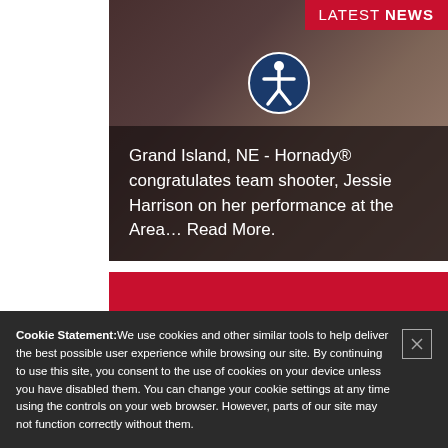[Figure (photo): Background photo of a person at a shooting range with a dark overlay. Shows LATEST NEWS banner in red top right, accessibility icon circle in center, and text overlay at bottom reading 'Grand Island, NE - Hornady® congratulates team shooter, Jessie Harrison on her performance at the Area… Read More.']
Grand Island, NE - Hornady® congratulates team shooter, Jessie Harrison on her performance at the Area… Read More.
[Figure (photo): Red background photo section, partially visible]
Cookie Statement:We use cookies and other similar tools to help deliver the best possible user experience while browsing our site. By continuing to use this site, you consent to the use of cookies on your device unless you have disabled them. You can change your cookie settings at any time using the controls on your web browser. However, parts of our site may not function correctly without them.